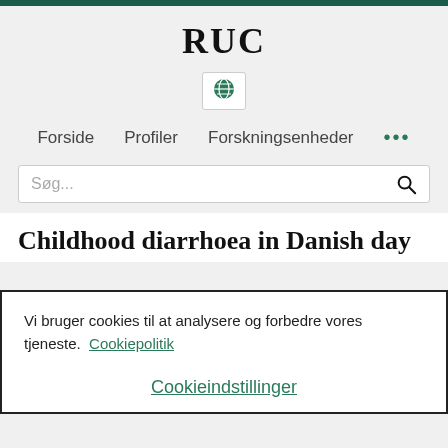RUC
Forside
Profiler
Forskningsenheder
...
Søg...
Childhood diarrhoea in Danish day
Vi bruger cookies til at analysere og forbedre vores tjeneste.  Cookiepolitik
Cookieindstillinger